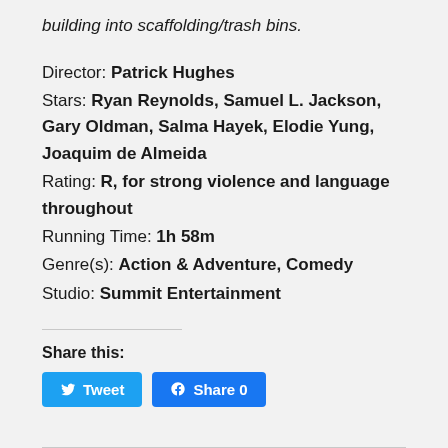building into scaffolding/trash bins.
Director: Patrick Hughes
Stars: Ryan Reynolds, Samuel L. Jackson, Gary Oldman, Salma Hayek, Elodie Yung, Joaquim de Almeida
Rating: R, for strong violence and language throughout
Running Time: 1h 58m
Genre(s): Action & Adventure, Comedy
Studio: Summit Entertainment
Share this:
Tweet
Share 0